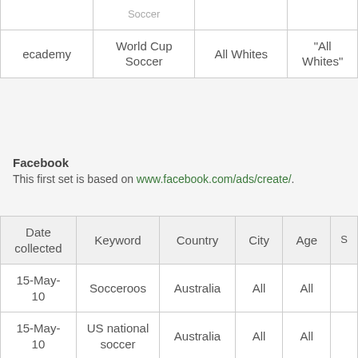|  |  | All Whites | "All Whites" |
| --- | --- | --- | --- |
| ecademy | World Cup Soccer | All Whites | "All Whites" |
Facebook
This first set is based on www.facebook.com/ads/create/.
| Date collected | Keyword | Country | City | Age | S |
| --- | --- | --- | --- | --- | --- |
| 15-May-10 | Socceroos | Australia | All | All |  |
| 15-May-10 | US national soccer | Australia | All | All |  |
| 15-May-10 | Spain national soccer team | Australia | All | All |  |